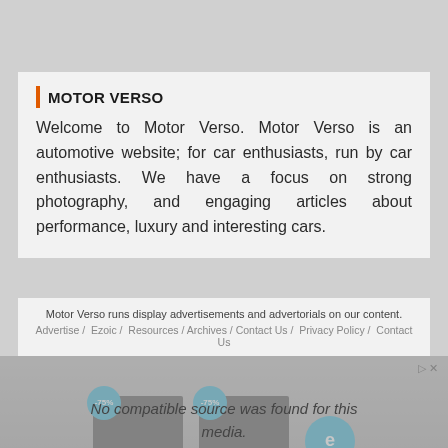MOTOR VERSO
Welcome to Motor Verso. Motor Verso is an automotive website; for car enthusiasts, run by car enthusiasts. We have a focus on strong photography, and engaging articles about performance, luxury and interesting cars.
Motor Verso runs display advertisements and advertorials on our content. Advertise / Ezoic / Resources / Archives / Contact Us / Privacy Policy / Contact Us
[Figure (screenshot): Advertisement banner showing POS terminal systems with -75% discount badges and Ezoic logo]